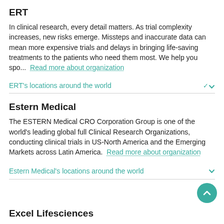ERT
In clinical research, every detail matters. As trial complexity increases, new risks emerge. Missteps and inaccurate data can mean more expensive trials and delays in bringing life-saving treatments to the patients who need them most. We help you spo...  Read more about organization
ERT's locations around the world
Estern Medical
The ESTERN Medical CRO Corporation Group is one of the world's leading global full Clinical Research Organizations, conducting clinical trials in US-North America and the Emerging Markets across Latin America.  Read more about organization
Estern Medical's locations around the world
Excel Lifesciences